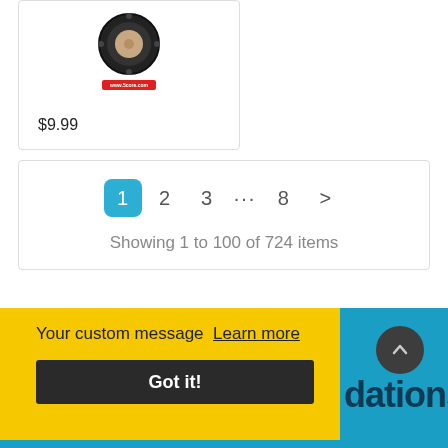[Figure (photo): Product image of a speaker/audio device with a red badge showing a website URL, displayed in a product card]
$9.99
1  2  3  …  8  >
Showing 1 to 100 of 724 items
Your custom message  Learn more
Got it!
dations